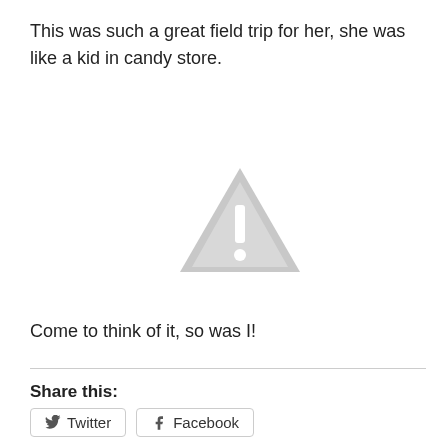This was such a great field trip for her, she was like a kid in candy store.
[Figure (illustration): A gray warning/caution triangle icon with an exclamation mark inside.]
Come to think of it, so was I!
Share this:
Twitter
Facebook